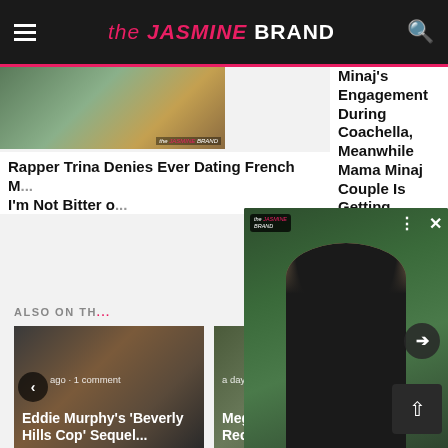the JASMINE BRAND
[Figure (photo): Partial view of article thumbnail image on left side]
Rapper Trina Denies Ever Dating French M... I'm Not Bitter o...
Minaj's Engagement During Coachella, Meanwhile Mama Minaj Couple Is Getting Hitched
[Figure (photo): Popup overlay showing a woman with long dark curly hair wearing a black top, standing in front of green foliage background. Logo watermark in top left corner. Close button and dots menu in top right. Right arrow navigation button.]
ALSO ON TH...
[Figure (photo): Card showing Eddie Murphy Beverly Hills sequel, carousel left arrow visible]
ago · 1 comment
Eddie Murphy's 'Beverly Hills Cop' Sequel...
[Figure (photo): Card showing Megan Thee Stallion Twerk Video, carousel right arrow visible]
a day ago · 5 co...
Megan Thee Stallion Reco... Twerk Vide...